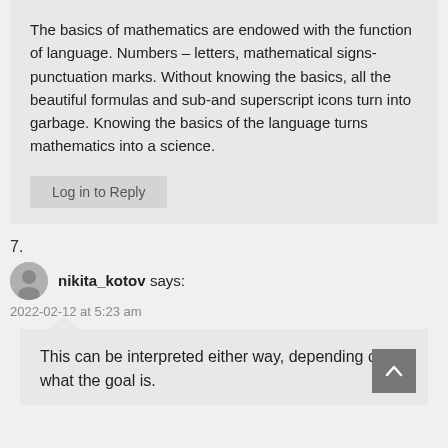The basics of mathematics are endowed with the function of language. Numbers – letters, mathematical signs-punctuation marks. Without knowing the basics, all the beautiful formulas and sub-and superscript icons turn into garbage. Knowing the basics of the language turns mathematics into a science.
Log in to Reply
7.
nikita_kotov says:
2022-02-12 at 5:23 am
This can be interpreted either way, depending on what the goal is.